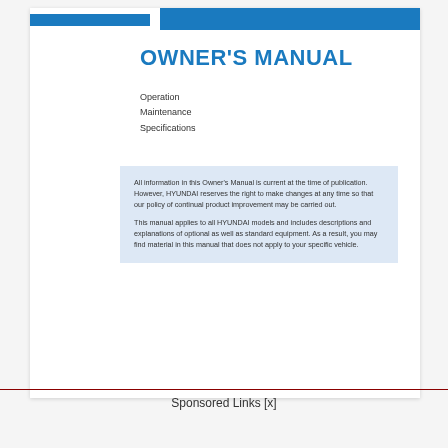[Figure (other): Blue header bar with two-part design: smaller left section and larger right section]
OWNER'S MANUAL
Operation
Maintenance
Specifications
All information in this Owner's Manual is current at the time of publication. However, HYUNDAI reserves the right to make changes at any time so that our policy of continual product improvement may be carried out.

This manual applies to all HYUNDAI models and includes descriptions and explanations of optional as well as standard equipment. As a result, you may find material in this manual that does not apply to your specific vehicle.
Sponsored Links [x]